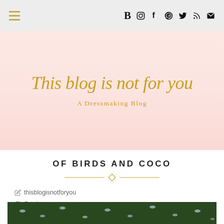Navigation bar with hamburger menu and social icons: B (Bloglovin), Instagram, Facebook, Pinterest, Twitter, RSS, Email
This blog is not for you
A Dressmaking Blog
OF BIRDS AND COCO
thisblogisnotforyou
Sewing
jersey, Sewing
[Figure (photo): Bottom strip showing fabric with bird pattern in dark green/navy colors]